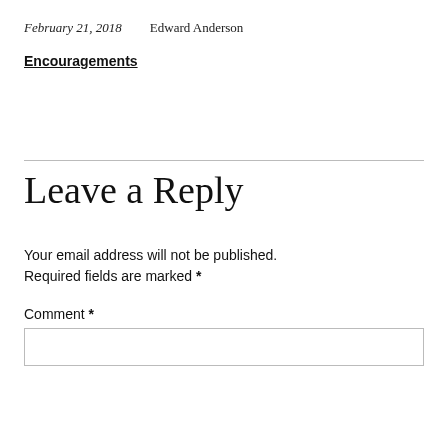February 21, 2018    Edward Anderson
Encouragements
Leave a Reply
Your email address will not be published. Required fields are marked *
Comment *